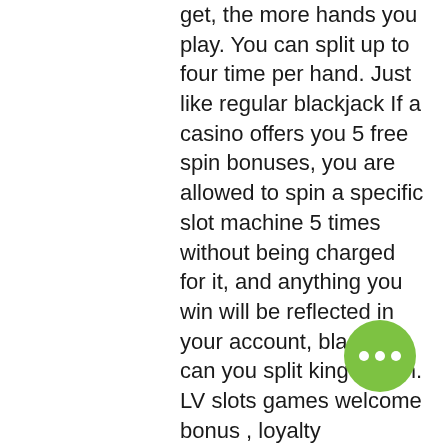get, the more hands you play. You can split up to four time per hand. Just like regular blackjack If a casino offers you 5 free spin bonuses, you are allowed to spin a specific slot machine 5 times without being charged for it, and anything you win will be reflected in your account, blackjack can you split king queen. LV slots games welcome bonus , loyalty programs, Slots LV birthday bonus, and a whole selection of free cash offers that include referring a friend, liking them on Facebook, and much more. Slots LV Navigation & Layout. The 1st menu is displayed under the advertised welcome bonus, showing punters the available betting platforms, free games real money no deposit. Those include Slots, Table Games, Live Dealer, and Video Poker. Towards the bottom of the homepage is the second menu. This is an ace combined with a king, queen